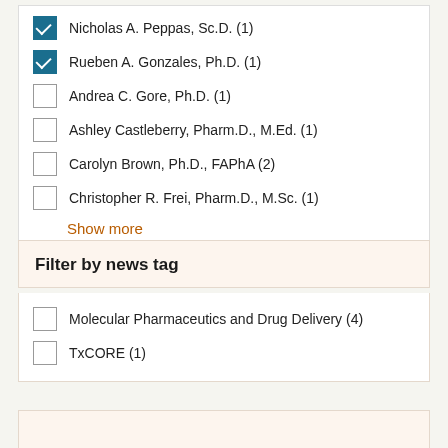Nicholas A. Peppas, Sc.D. (1) [checked]
Rueben A. Gonzales, Ph.D. (1) [checked]
Andrea C. Gore, Ph.D. (1)
Ashley Castleberry, Pharm.D., M.Ed. (1)
Carolyn Brown, Ph.D., FAPhA (2)
Christopher R. Frei, Pharm.D., M.Sc. (1)
Show more
Filter by news tag
Molecular Pharmaceutics and Drug Delivery (4)
TxCORE (1)